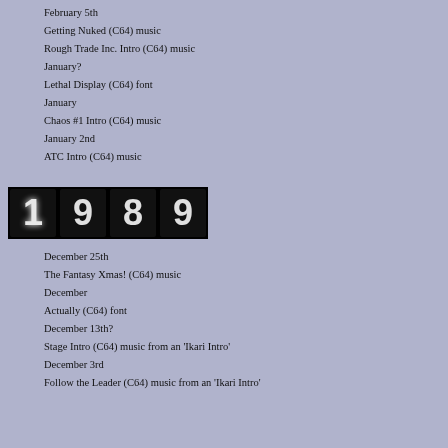February 5th
Getting Nuked (C64) music
Rough Trade Inc. Intro (C64) music
January?
Lethal Display (C64) font
January
Chaos #1 Intro (C64) music
January 2nd
ATC Intro (C64) music
[Figure (other): 1989 year badge rendered as glowing digit tiles on black background]
December 25th
The Fantasy Xmas! (C64) music
December
Actually (C64) font
December 13th?
Stage Intro (C64) music from an 'Ikari Intro'
December 3rd
Follow the Leader (C64) music from an 'Ikari Intro'